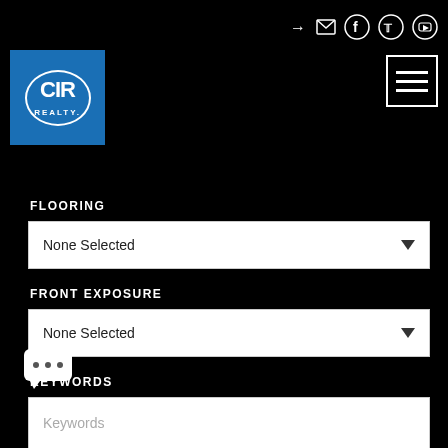[Figure (logo): CIR Realty logo in blue square with white oval border]
[Figure (screenshot): Navigation icons: login arrow, mail envelope, Facebook circle, Twitter circle, YouTube circle]
[Figure (screenshot): Hamburger menu button (three horizontal lines) in white rectangle border]
FLOORING
None Selected
FRONT EXPOSURE
None Selected
KEYWORDS
Keywords
Search